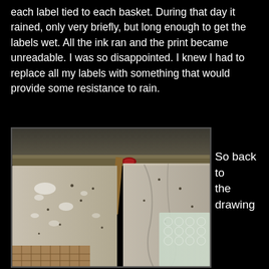each label tied to each basket. During that day it rained, only very briefly, but long enough to get the labels wet. All the ink ran and the print became unreadable. I was so disappointed. I knew I had to replace all my labels with something that would provide some resistance to rain.
[Figure (photo): Close-up photograph of what appears to be seed packets or labels hanging on a wooden frame/rack with plastic sheeting and mesh, showing water droplets on fabric or paper surfaces.]
So back to the drawing